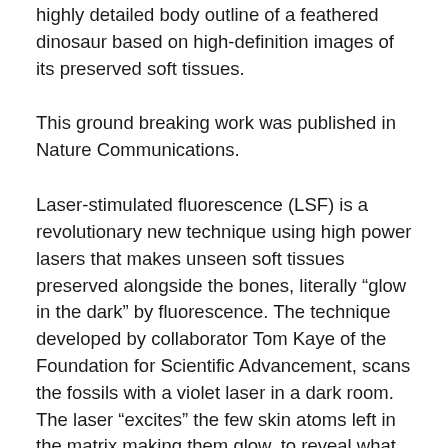highly detailed body outline of a feathered dinosaur based on high-definition images of its preserved soft tissues.
This ground breaking work was published in Nature Communications.
Laser-stimulated fluorescence (LSF) is a revolutionary new technique using high power lasers that makes unseen soft tissues preserved alongside the bones, literally “glow in the dark” by fluorescence. The technique developed by collaborator Tom Kaye of the Foundation for Scientific Advancement, scans the fossils with a violet laser in a dark room. The laser “excites” the few skin atoms left in the matrix making them glow, to reveal what the shape of the dinosaur actually looked like. “For the last 20 years we have been amazed by the wondrous feathered dinosaurs of Northeastern China. However, we never thought they would preserve soft tissues so extensively,” said lead author and palaeontologist